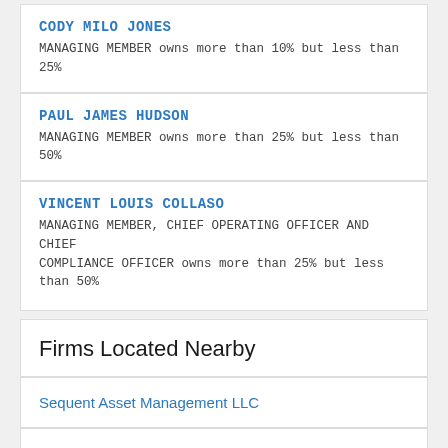CODY MILO JONES
MANAGING MEMBER owns more than 10% but less than 25%
PAUL JAMES HUDSON
MANAGING MEMBER owns more than 25% but less than 50%
VINCENT LOUIS COLLASO
MANAGING MEMBER, CHIEF OPERATING OFFICER AND CHIEF COMPLIANCE OFFICER owns more than 25% but less than 50%
Firms Located Nearby
Sequent Asset Management LLC
Sustainable Woodlands Partners LLC